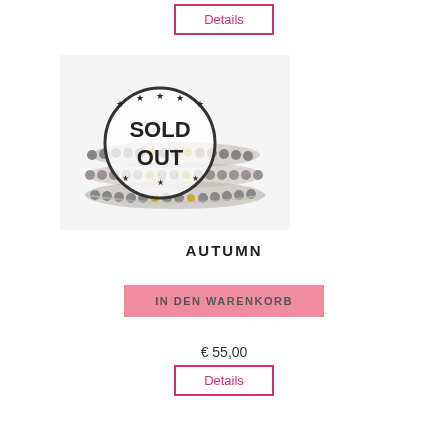Details
[Figure (photo): A beaded wrap bracelet with gray stones and gold beads, overlaid with a circular SOLD OUT stamp/logo]
AUTUMN
IN DEN WARENKORB
€ 55,00
Details